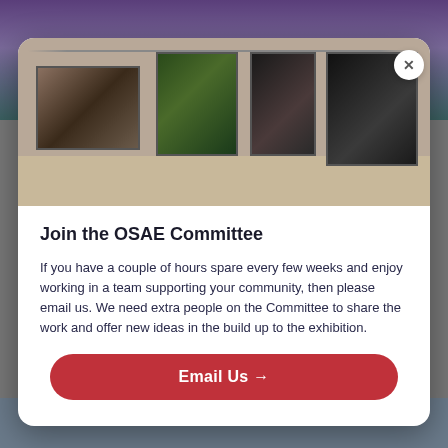[Figure (photo): Art gallery exhibition showing four paintings hung on a wall: a reclining figure, tropical foliage, a woman's face, and a Marilyn Monroe portrait]
Join the OSAE Committee
If you have a couple of hours spare every few weeks and enjoy working in a team supporting your community, then please email us. We need extra people on the Committee to share the work and offer new ideas in the build up to the exhibition.
Email Us →